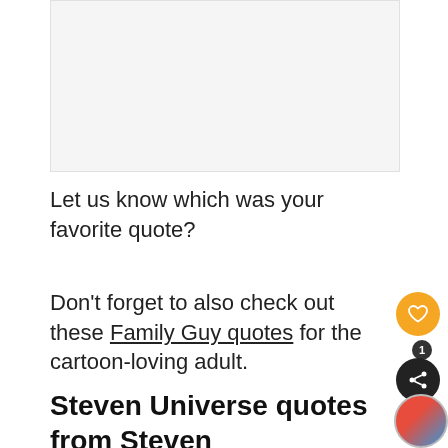[Figure (other): Light gray image placeholder rectangle at top of page]
Let us know which was your favorite quote?
Don't forget to also check out these Family Guy quotes for the cartoon-loving adult.
Steven Universe quotes from Steven